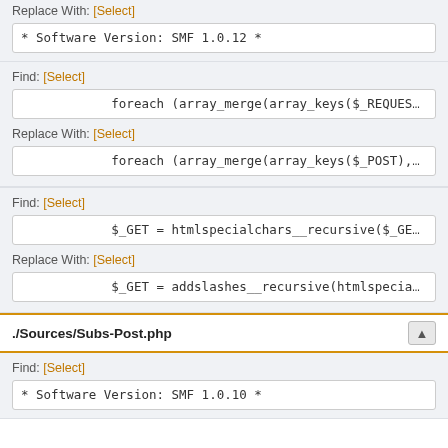Replace With: [Select]
* Software Version: SMF 1.0.12 *
Find: [Select]
foreach (array_merge(array_keys($_REQUEST)
Replace With: [Select]
foreach (array_merge(array_keys($_POST), a
Find: [Select]
$_GET = htmlspecialchars__recursive($_GET)
Replace With: [Select]
$_GET = addslashes__recursive(htmlspecialc
./Sources/Subs-Post.php
Find: [Select]
* Software Version: SMF 1.0.10 *